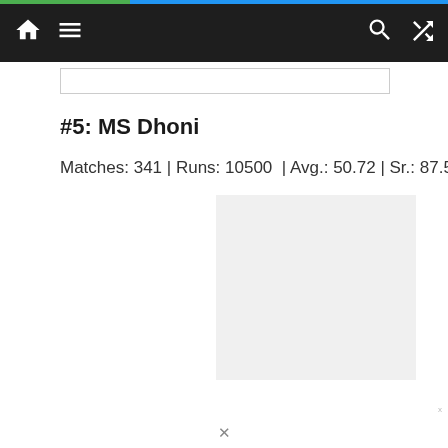Navigation bar with home, menu, search, and shuffle icons
#5: MS Dhoni
Matches: 341 | Runs: 10500  | Avg.: 50.72 | Sr.: 87.56
[Figure (photo): Gray placeholder image box for MS Dhoni photo]